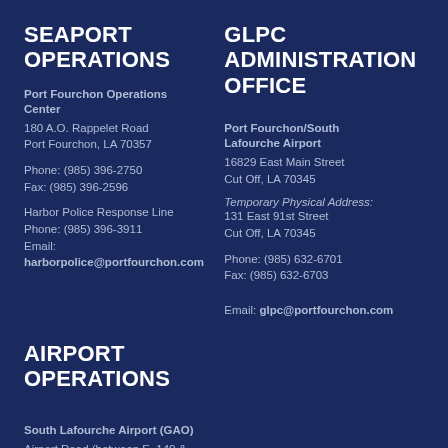SEAPORT OPERATIONS
Port Fourchon Operations Center
180 A.O. Rappelet Road
Port Fourchon, LA 70357
Phone: (985) 396-2750
Fax: (985) 396-2596
Harbor Police Response Line
Phone: (985) 396-3911
Email:
harborpolice@portfourchon.com
GLPC ADMINISTRATION OFFICE
Port Fourchon/South Lafourche Airport
16829 East Main Street
Cut Off, LA 70345
Temporary Physical Address:
131 East 91st Street
Cut Off, LA 70345
Phone: (985) 632-6701
Fax: (985) 632-6703
Email: glpc@portfourchon.com
AIRPORT OPERATIONS
South Lafourche Airport (GAO)
Airport Road (between E. 140 &